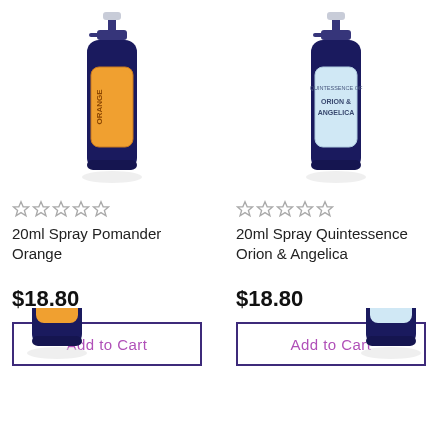[Figure (photo): Dark blue spray bottle with orange label reading ORANGE, product photo on white background]
☆ ☆ ☆ ☆ ☆
20ml Spray Pomander Orange
$18.80
Add to Cart
[Figure (photo): Dark blue spray bottle with light blue/lavender label reading ORION & ANGELICA, product photo on white background]
☆ ☆ ☆ ☆ ☆
20ml Spray Quintessence Orion & Angelica
$18.80
Add to Cart
[Figure (photo): Partial view of dark blue spray bottle at bottom left, cropped]
[Figure (photo): Partial view of dark blue spray bottle at bottom right, cropped]